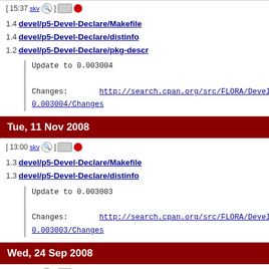[ 15:37 skv ] [icons] Update to 0.003004 - devel/p5-Devel-Declare/Makefile 1.4, devel/p5-Devel-Declare/distinfo 1.4, devel/p5-Devel-Declare/pkg-descr 1.2
Tue, 11 Nov 2008
[ 13:00 skv ] Update to 0.003003 - devel/p5-Devel-Declare/Makefile 1.3, devel/p5-Devel-Declare/distinfo 1.3
Wed, 24 Sep 2008
[ 15:28 skv ] [icons]